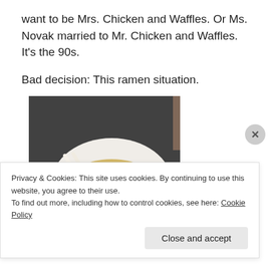want to be Mrs. Chicken and Waffles. Or Ms. Novak married to Mr. Chicken and Waffles. It's the 90s.
Bad decision: This ramen situation.
[Figure (photo): A hand holding a white paper/styrofoam tray of ramen noodles topped with green onions, shredded chicken or meat, and other toppings, with chopsticks on the side. The background is dark pavement.]
Privacy & Cookies: This site uses cookies. By continuing to use this website, you agree to their use.
To find out more, including how to control cookies, see here: Cookie Policy